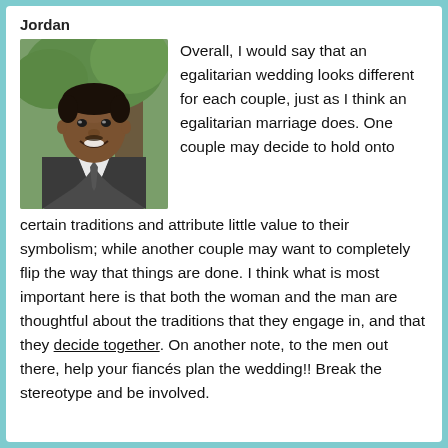Jordan
[Figure (photo): Portrait photo of a young Black man in a suit and tie, smiling outdoors near a tree.]
Overall, I would say that an egalitarian wedding looks different for each couple, just as I think an egalitarian marriage does. One couple may decide to hold onto certain traditions and attribute little value to their symbolism; while another couple may want to completely flip the way that things are done. I think what is most important here is that both the woman and the man are thoughtful about the traditions that they engage in, and that they decide together. On another note, to the men out there, help your fiancés plan the wedding!! Break the stereotype and be involved.